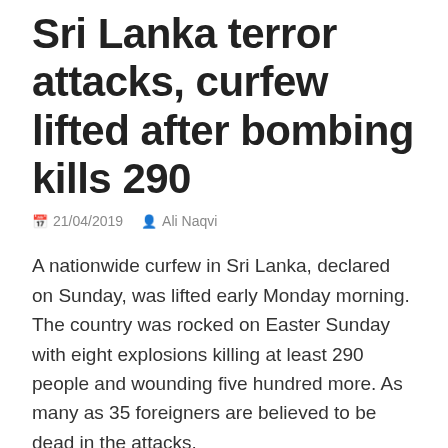Sri Lanka terror attacks, curfew lifted after bombing kills 290
21/04/2019  Ali Naqvi
A nationwide curfew in Sri Lanka, declared on Sunday, was lifted early Monday morning. The country was rocked on Easter Sunday with eight explosions killing at least 290 people and wounding five hundred more. As many as 35 foreigners are believed to be dead in the attacks.
Colombo was struck the heaviest taking most of the explosions. The blasts at three Sri Lankan luxury hotels and churches devastated the entire nation. All hospitals as well as police and security agencies are put on high alert.